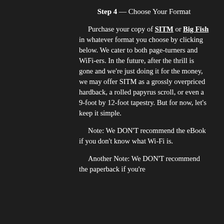Step 4 — Choose Your Format
Purchase your copy of SITM or Big Fish in whatever format you choose by clicking below. We cater to both page-turners and WiFi-ers. In the future, after the thrill is gone and we're just doing it for the money, we may offer SITM as a grossly overpriced hardback, a rolled papyrus scroll, or even a 9-foot by 12-foot tapestry. But for now, let's keep it simple.
Note: We DON'T recommend the eBook if you don't know what Wi-Fi is.
Another Note: We DON'T recommend the paperback if you're